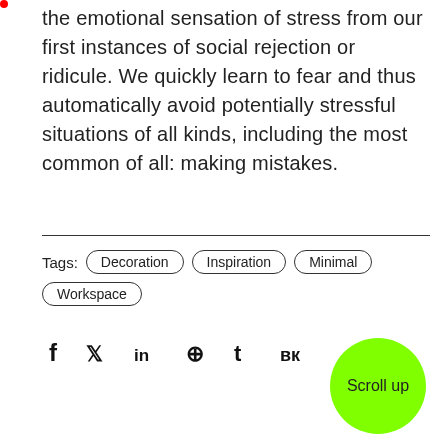the emotional sensation of stress from our first instances of social rejection or ridicule. We quickly learn to fear and thus automatically avoid potentially stressful situations of all kinds, including the most common of all: making mistakes.
Tags: Decoration Inspiration Minimal Workspace
Social share icons: f (Facebook), Twitter, in (LinkedIn), Pinterest, t (Tumblr), VK
Scroll up